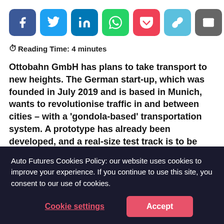[Figure (infographic): Row of 7 social share buttons: Facebook (dark blue), Twitter (blue), LinkedIn (dark blue), WhatsApp (green), Pocket (red/pink), link/copy (light blue), email (gray)]
Reading Time: 4 minutes
Ottobahn GmbH has plans to take transport to new heights. The German start-up, which was founded in July 2019 and is based in Munich, wants to revolutionise traffic in and between cities – with a 'gondola-based' transportation system. A prototype has already been developed, and a real-size test track is to be built in the south of Munich before the end of 2021
Auto Futures Cookies Policy: our website uses cookies to improve your experience. If you continue to use this site, you consent to our use of cookies.
Cookie settings
Accept